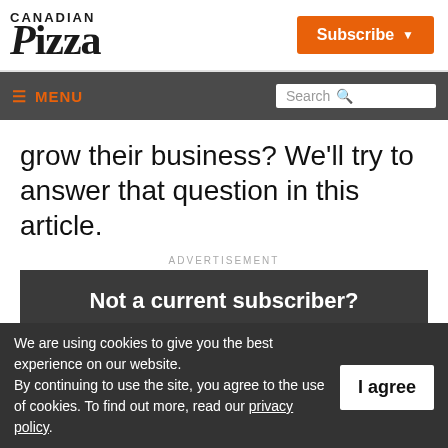Canadian Pizza
Subscribe
≡ MENU | Search
grow their business? We'll try to answer that question in this article.
ADVERTISEMENT
[Figure (other): Advertisement banner with dark background reading 'Not a current subscriber? SUBSCRIBE TODAY']
We are using cookies to give you the best experience on our website. By continuing to use the site, you agree to the use of cookies. To find out more, read our privacy policy.